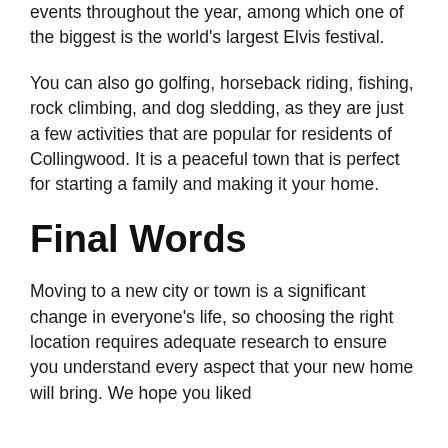events throughout the year, among which one of the biggest is the world's largest Elvis festival.
You can also go golfing, horseback riding, fishing, rock climbing, and dog sledding, as they are just a few activities that are popular for residents of Collingwood. It is a peaceful town that is perfect for starting a family and making it your home.
Final Words
Moving to a new city or town is a significant change in everyone's life, so choosing the right location requires adequate research to ensure you understand every aspect that your new home will bring. We hope you liked